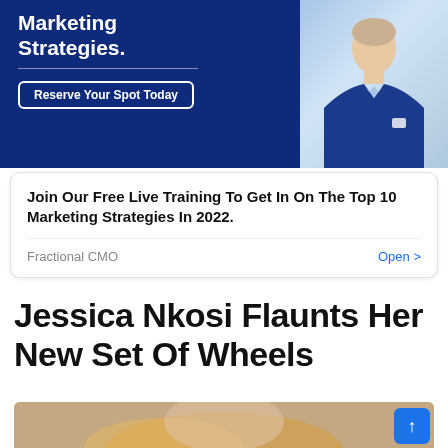[Figure (photo): Advertisement banner with dark navy blue background. White bold text reads 'Marketing Strategies.' with a white horizontal divider line and a 'Reserve Your Spot Today' button with white border. An orange diagonal stripe separates a photo of a man in a blue suit on the right side.]
Join Our Free Live Training To Get In On The Top 10 Marketing Strategies In 2022.
Fractional CMO    Open >
Jessica Nkosi Flaunts Her New Set Of Wheels
[Figure (photo): Partial photo of a woman with blonde hair, cropped at the bottom of the page.]